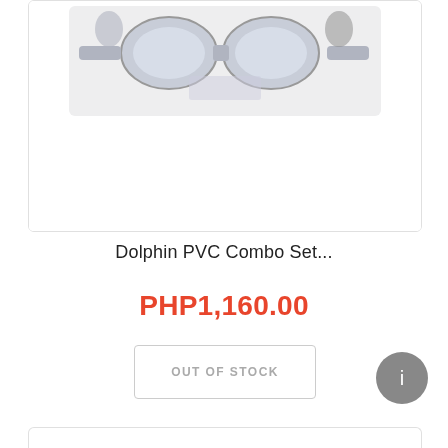[Figure (photo): Product photo of Dolphin PVC Combo Set in clear plastic packaging, showing goggles/mask set against white background. Top portion of image visible.]
Dolphin PVC Combo Set...
PHP1,160.00
OUT OF STOCK